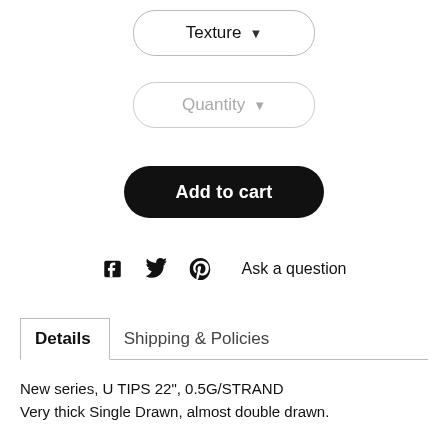[Figure (screenshot): Texture dropdown button (pill-shaped, outlined)]
[Figure (screenshot): Quantity dropdown button (pill-shaped, outlined, grayed out)]
[Figure (screenshot): Add to cart black pill button]
[Figure (screenshot): Social share icons (Facebook, Twitter, Pinterest) and Ask a question link]
[Figure (screenshot): Details and Shipping & Policies tab navigation]
New series, U TIPS 22", 0.5G/STRAND
Very thick Single Drawn, almost double drawn.

Lower cost, European remy hair grade high quality.